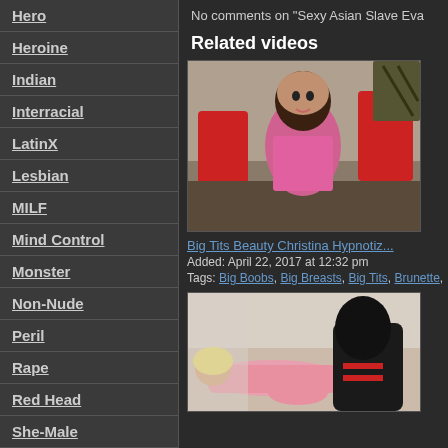Hero
Heroine
Indian
Interracial
LatinX
Lesbian
MILF
Mind Control
Monster
Non-Nude
Peril
Rape
Red Head
She-Male
Teen
Tentacles
No comments on "Sexy Asian Slave Eva
Related videos
[Figure (photo): Video thumbnail showing woman in pink top]
Big Tits Beauty Christina Hypnotiz...
Added: April 22, 2017 at 12:32 pm
Tags: Big Boobs, Big Breasts, Big Tits, Brunette,
[Figure (photo): Video thumbnail showing second related video]